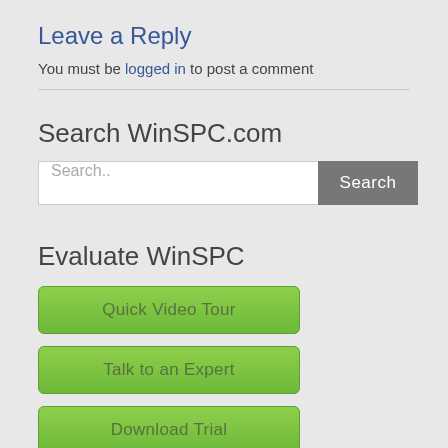Leave a Reply
You must be logged in to post a comment
Search WinSPC.com
[Figure (screenshot): Search input box with placeholder text 'Search..' and a grey 'Search' button]
Evaluate WinSPC
Quick Video Tour
Talk to an Expert
Download Trial